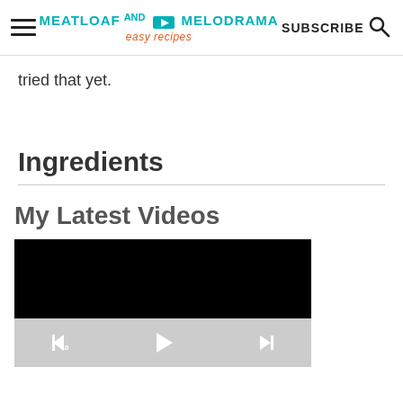MEATLOAF AND MELODRAMA easy recipes | SUBSCRIBE
tried that yet.
Ingredients
My Latest Videos
[Figure (screenshot): Video player with black screen and playback controls (rewind 10s, play, skip forward) on a grey background]